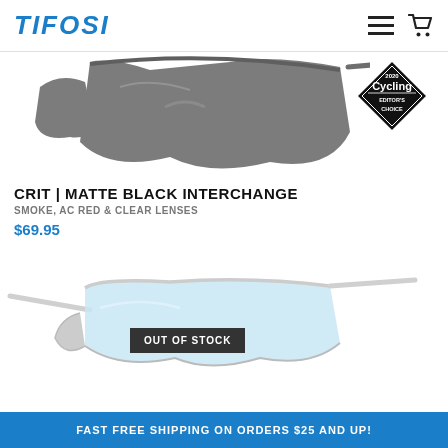TIFOSI
[Figure (photo): Tifosi Crit matte black interchange sunglasses with smoke lenses, shown from side/front angle, partially cropped]
[Figure (logo): 2020 Cycling Editor's Choice award badge — black diamond shape with white text]
CRIT | MATTE BLACK INTERCHANGE
SMOKE, AC RED & CLEAR LENSES
$69.95
[Figure (photo): Tifosi white/silver interchange sunglasses with light blue lenses, shown from side angle with OUT OF STOCK overlay badge]
FAST FREE SHIPPING ON ORDERS $25 AND UP!